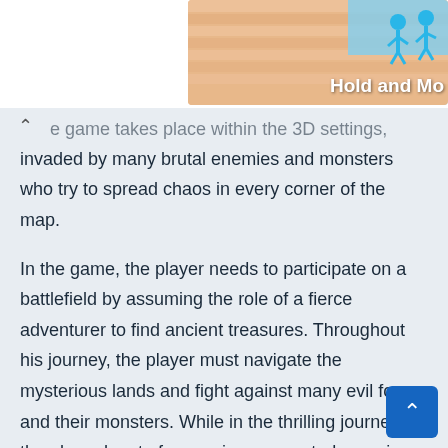[Figure (screenshot): Partial game banner with striped background and blue figure icons, bold white text reading 'Hold and Mo' (truncated at right edge)]
...the game takes place within the 3D settings, invaded by many brutal enemies and monsters who try to spread chaos in every corner of the map.
In the game, the player needs to participate on a battlefield by assuming the role of a fierce adventurer to find ancient treasures. Throughout his journey, the player must navigate the mysterious lands and fight against many evil forces and their monsters. While in the thrilling journey, the player has to face various corrupted enemies and rivals and gain several experience points that he can utilize for different